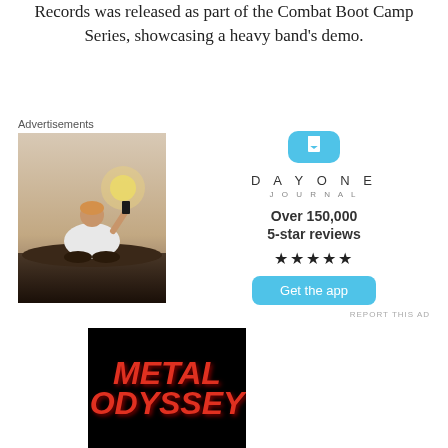Records was released as part of the Combat Boot Camp Series, showcasing a heavy band's demo.
Advertisements
[Figure (photo): Person sitting on rocks photographing sunset with a phone, viewed from behind, wearing white t-shirt]
[Figure (infographic): Day One Journal app advertisement: icon, name 'DAY ONE JOURNAL', 'Over 150,000 5-star reviews', five stars, 'Get the app' button]
REPORT THIS AD
[Figure (photo): Metal Odyssey album/book cover with red text on black background reading METAL ODYSSEY]